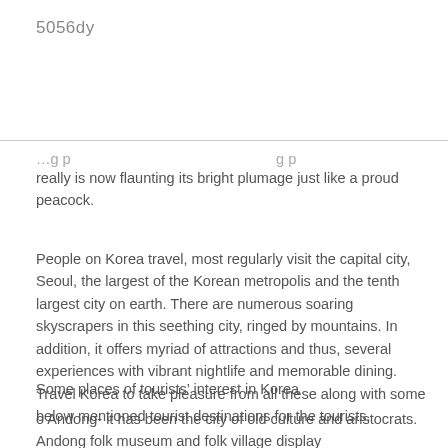5056dy
really is now flaunting its bright plumage just like a proud peacock.
People on Korea travel, most regularly visit the capital city, Seoul, the largest of the Korean metropolis and the tenth largest city on earth. There are numerous soaring skyscrapers in this seething city, ringed by mountains. In addition, it offers myriad of attractions and thus, several experiences with vibrant nightlife and memorable dining. Travel Korea to take pleasure from all these along with some below mentioned tourist destinations for the tourists.
Some places of tourists’ interest in Korea
o Andong- it has been the city of old culture and aristocrats. Andong folk museum and folk village display